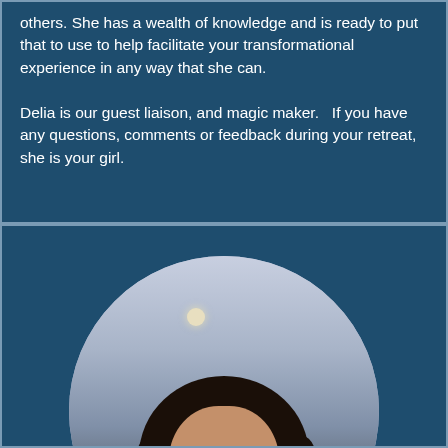others.  She has a wealth of knowledge and is ready to put that to use to help facilitate your transformational experience in any way that she can.

Delia is our guest liaison, and magic maker.   If you have any questions, comments or feedback during your retreat, she is your girl.
[Figure (photo): Circular portrait photo of a woman with dark hair, smiling, against a twilight sky background with a moon visible.]